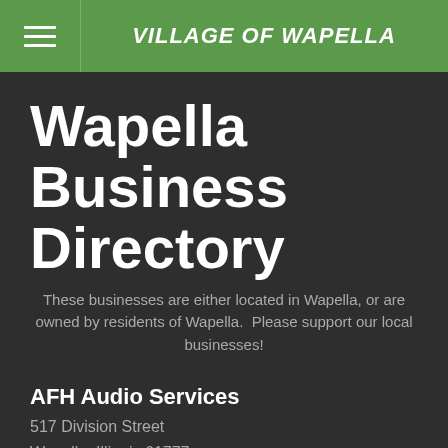VILLAGE OF WAPELLA
Wapella Business Directory
These businesses are either located in Wapella, or are owned by residents of Wapella.  Please support our local businesses!
AFH Audio Services
517 Division Street
Wapella, Illinois 61777
(309) 287-6133
Breakers II
310 Main Street
Wapella, Illinois 61777